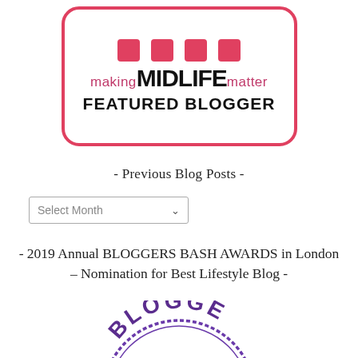[Figure (logo): Making Midlife Matter - Featured Blogger badge. A rounded rectangle with red/pink border containing icons at top, text 'making MIDLIFE matter' in pink and black, and 'FEATURED BLOGGER' in bold black below.]
- Previous Blog Posts -
[Figure (screenshot): A dropdown select element labeled 'Select Month' with a chevron arrow on the right side.]
- 2019 Annual BLOGGERS BASH AWARDS in London – Nomination for Best Lifestyle Blog -
[Figure (logo): Bloggers Bash circular stamp badge in purple/violet color, showing 'BLOGGE' text visible at the bottom of the page (partially cropped).]